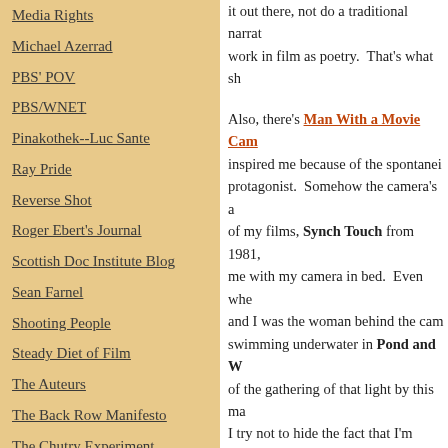Media Rights
Michael Azerrad
PBS' POV
PBS/WNET
Pinakothek--Luc Sante
Ray Pride
Reverse Shot
Roger Ebert's Journal
Scottish Doc Institute Blog
Sean Farnel
Shooting People
Steady Diet of Film
The Auteurs
The Back Row Manifesto
The Chutry Experiment
it out there, not do a traditional narra... work in film as poetry.  That's what sh...
Also, there's Man With a Movie Cam... inspired me because of the spontanei... protagonist.  Somehow the camera's a... of my films, Synch Touch from 1981,... me with my camera in bed.  Even whe... and I was the woman behind the cam... swimming underwater in Pond and W... of the gathering of that light by this ma... I try not to hide the fact that I'm using... hear the click of the printer in Optic N...
SIM:  Sensuality and an immediacy a... very fluid in terms of form, as well, all... in which you tell a certain story.  A lot... dimensionality, a physical heft and we... many of your pieces.  You also pay a... which create really rich counterpoint...